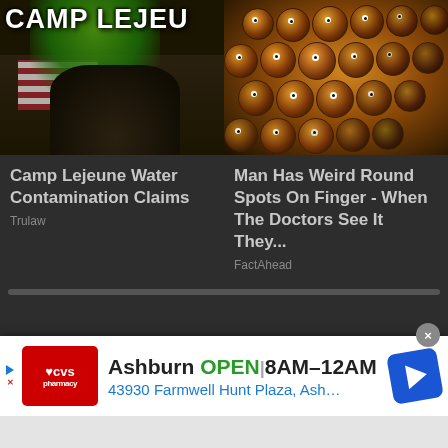[Figure (screenshot): Camp Lejeune themed image with green slime, American flag stripes, boots, and text overlay reading CAMP LEJEU]
Camp Lejeune Water Contamination Claims
Trulaw
[Figure (photo): Close-up photo of honeycomb-like organic structure with round holes containing eye-like spots, warm orange and brown tones]
Man Has Weird Round Spots On Finger - When The Doctors See It They...
FactAhead
[Figure (screenshot): CVS Pharmacy advertisement banner showing: Ashburn OPEN 8AM-12AM, 43930 Farmwell Hunt Plaza, Ash... with navigation arrow icon]